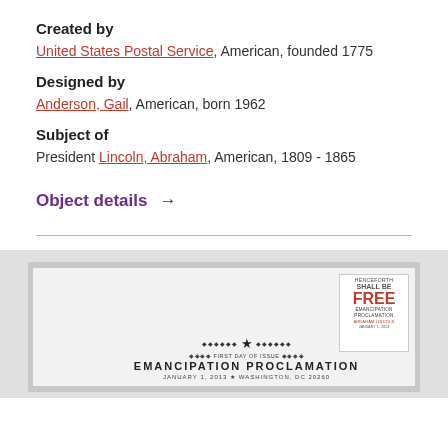Created by
United States Postal Service, American, founded 1775
Designed by
Anderson, Gail, American, born 1962
Subject of
President Lincoln, Abraham, American, 1809 - 1865
Object details →
[Figure (photo): First Day of Issue envelope for the Emancipation Proclamation stamp, featuring a stamp with 'Henceforth...Shall Be Free' and 'Emancipation Proclamation' text, and envelope text reading 'EMANCIPATION PROCLAMATION FIRST DAY OF ISSUE' with 'JANUARY 1, 2013 * WASHINGTON, DC 20260']